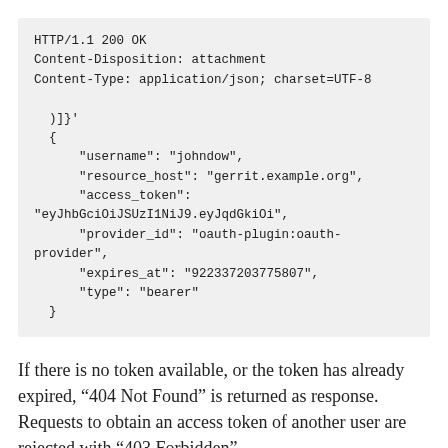[Figure (screenshot): Code block showing HTTP response headers and JSON body with OAuth token fields: username, resource_host, access_token, provider_id, expires_at, type.]
If there is no token available, or the token has already expired, “404 Not Found” is returned as response. Requests to obtain an access token of another user are rejected with “403 Forbidden”.